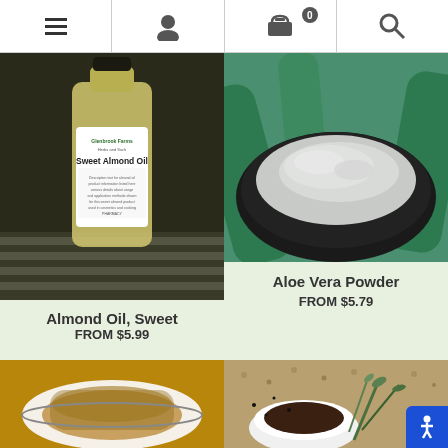[Figure (screenshot): Navigation bar with hamburger menu, user profile icon, shopping cart (0 items), and search icon on white background]
[Figure (photo): Bottle of Sweet Almond Oil by Glenbrook Farms Herbs and Such]
Almond Oil, Sweet
FROM $5.99
[Figure (photo): Bowl of grey/white Aloe Vera Powder]
Aloe Vera Powder
FROM $5.79
[Figure (photo): Brown herbal powder in a white bowl]
[Figure (photo): Cup of dark liquid with green plants and seeds]
[Figure (illustration): Accessibility icon button in bottom right corner]